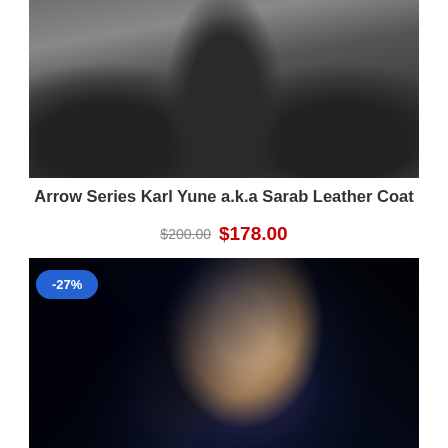[Figure (photo): Product photo of a dark grey/black leather coat worn by a person outdoors in a snowy setting, showing the torso area with gloved hands visible]
Arrow Series Karl Yune a.k.a Sarab Leather Coat
$200.00 $178.00
-27%
[Figure (photo): Product photo of a woman dressed as Black Canary from Arrow Series, wearing a black leather hooded costume with a mask, holding arrows, blue hood visible]